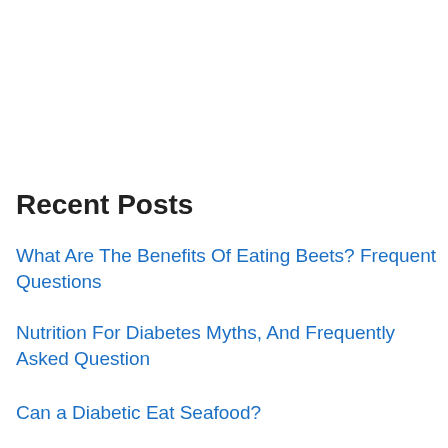Recent Posts
What Are The Benefits Of Eating Beets? Frequent Questions
Nutrition For Diabetes Myths, And Frequently Asked Question
Can a Diabetic Eat Seafood?
Why I Drink Lemon Water Every Morning
Content Syndication: The Ultimate Way To Promote A Website